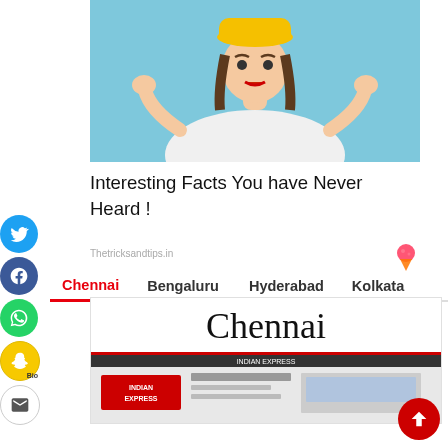[Figure (photo): Woman with yellow hat making a shrug gesture on blue background]
Interesting Facts You have Never Heard !
Thetricksandtips.in
[Figure (logo): Pink/red strawberry ice cream cone logo]
Chennai | Bengaluru | Hyderabad | Kolkata
Chennai
[Figure (screenshot): Indian Express newspaper screenshot thumbnail]